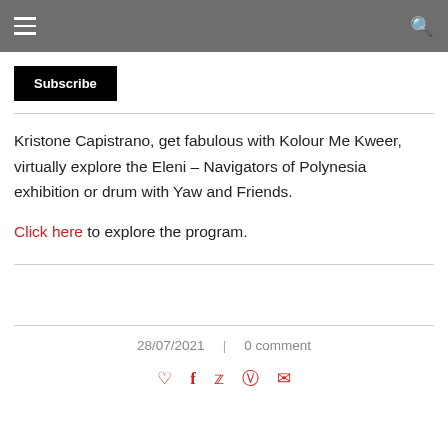☰  🔍
Subscribe
Kristone Capistrano, get fabulous with Kolour Me Kweer, virtually explore the Eleni – Navigators of Polynesia exhibition or drum with Yaw and Friends.
Click here to explore the program.
28/07/2021 | 0 comment